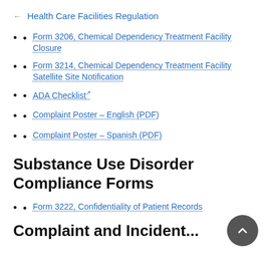← Health Care Facilities Regulation
Form 3206, Chemical Dependency Treatment Facility Closure
Form 3214, Chemical Dependency Treatment Facility Satellite Site Notification
ADA Checklist
Complaint Poster – English (PDF)
Complaint Poster – Spanish (PDF)
Substance Use Disorder Compliance Forms
Form 3222, Confidentiality of Patient Records
Complaint and Incident...